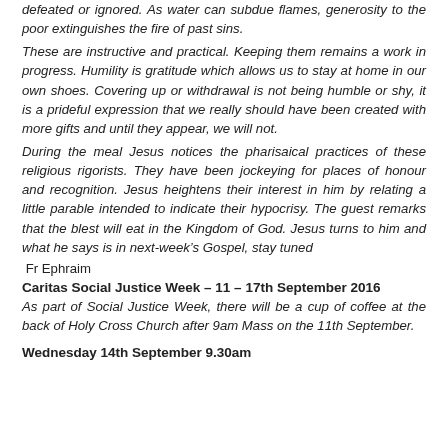defeated or ignored. As water can subdue flames, generosity to the poor extinguishes the fire of past sins.
These are instructive and practical. Keeping them remains a work in progress. Humility is gratitude which allows us to stay at home in our own shoes. Covering up or withdrawal is not being humble or shy, it is a prideful expression that we really should have been created with more gifts and until they appear, we will not.
During the meal Jesus notices the pharisaical practices of these religious rigorists. They have been jockeying for places of honour and recognition. Jesus heightens their interest in him by relating a little parable intended to indicate their hypocrisy. The guest remarks that the blest will eat in the Kingdom of God. Jesus turns to him and what he says is in next-week’s Gospel, stay tuned
Fr Ephraim
Caritas Social Justice Week – 11 – 17th September 2016
As part of Social Justice Week, there will be a cup of coffee at the back of Holy Cross Church after 9am Mass on the 11th September.
Wednesday 14th September 9.30am